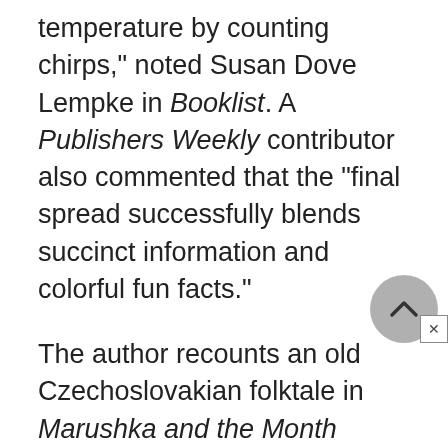temperature by counting chirps," noted Susan Dove Lempke in Booklist. A Publishers Weekly contributor also commented that the "final spread successfully blends succinct information and colorful fun facts."
The author recounts an old Czechoslovakian folktale in Marushka and the Month Brothers: A Folktale. Like the tale of Cinderella, the story revolves around a young girl living with her evil stepmother and stepsister. As